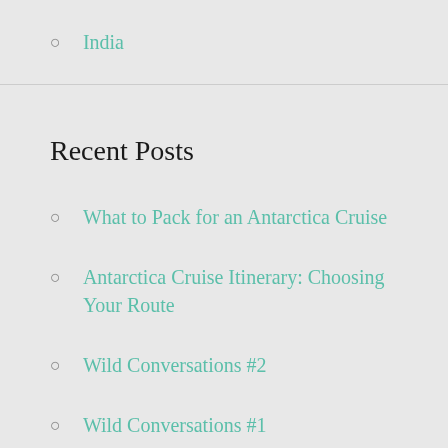India
Recent Posts
What to Pack for an Antarctica Cruise
Antarctica Cruise Itinerary: Choosing Your Route
Wild Conversations #2
Wild Conversations #1